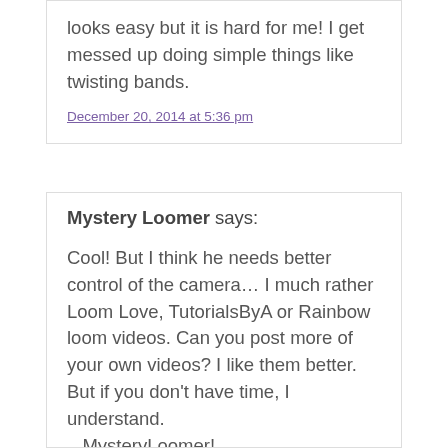looks easy but it is hard for me! I get messed up doing simple things like twisting bands.
December 20, 2014 at 5:36 pm
Mystery Loomer says:
Cool! But I think he needs better control of the camera… I much rather Loom Love, TutorialsByA or Rainbow loom videos. Can you post more of your own videos? I like them better. But if you don't have time, I understand.
– MysteryLoomer!
P.S. Like the name? I also go by OH MY POTATO! because I say